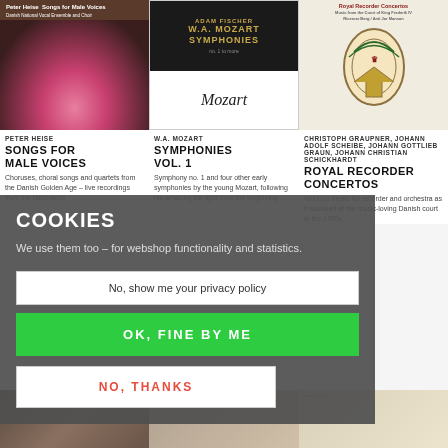[Figure (photo): Album cover: Peter Heise Songs for Male Voices - pink roses on dark background]
[Figure (photo): Album cover: Adam Fischer W.A. Mozart Symphonies - conductor photo on black and white cover]
[Figure (photo): Album cover: Royal Recorder Concertos - decorative royal emblem on cream background]
PETER HEISE
SONGS FOR MALE VOICES
Choruses, choral songs and quartets from the Danish Golden Age – live recordings from the fatherland!
W.A. MOZART
SYMPHONIES VOL. 1
Symphony no. 1 and four other early symphonies by the young Mozart, following his amazing life right from the beginning
CHRISTOPH GRAUPNER, JOHANN ADOLF SCHEIBE, JOHANN GOTTLIEB GRAUN, JOHANN CHRISTIAN SCHICKHARDT
ROYAL RECORDER CONCERTOS
Virtuoso music for recorder and orchestra as it sounded at the music-loving Danish court in the 1700s
COOKIES
We use them too – for webshop functionality and statistics.
No, show me your privacy policy
OK, FINE BY ME
NO, THANKS